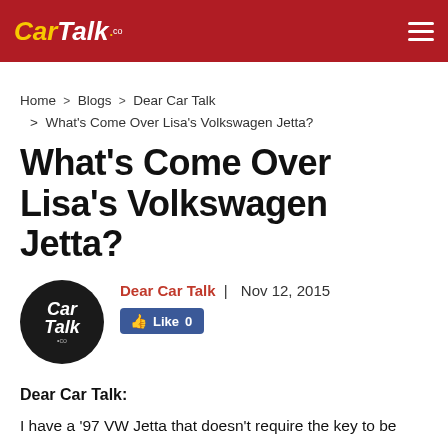Car Talk
Home > Blogs > Dear Car Talk > What's Come Over Lisa's Volkswagen Jetta?
What's Come Over Lisa's Volkswagen Jetta?
Dear Car Talk | Nov 12, 2015
Like 0
Dear Car Talk:
I have a '97 VW Jetta that doesn't require the key to be